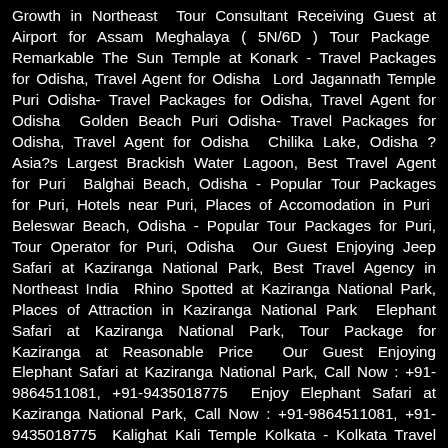Growth in Northeast  Tour Consultant Receiving Guest at Airport for Assam Meghalaya ( 5N/6D ) Tour Package  Remarkable The Sun Temple at Konark - Travel Packages for Odisha, Travel Agent for Odisha  Lord Jagannath Temple Puri Odisha- Travel Packages for Odisha, Travel Agent for Odisha  Golden Beach Puri Odisha- Travel Packages for Odisha, Travel Agent for Odisha  Chilika Lake, Odisha ? Asia?s Largest Brackish Water Lagoon, Best Travel Agent for Puri  Balghai Beach, Odisha - Popular Tour Packages for Puri, Hotels near Puri, Places of Accomodation in Puri  Beleswar Beach, Odisha - Popular Tour Packages for Puri, Tour Operator for Puri, Odisha  Our Guest Enjoying Jeep Safari at Kaziranga National Park, Best Travel Agency in Northeast India  Rhino Spotted at Kaziranga National Park, Places of Attraction in Kaziranga National Park  Elephant Safari at Kaziranga National Park, Tour Package for Kaziranga at Reasonable Price  Our Guest Enjoying Elephant Safari at Kaziranga National Park, Call Now : +91-9864511081, +91-9435018775  Enjoy Elephant Safari at Kaziranga National Park, Call Now : +91-9864511081, +91-9435018775  Kalighat Kali Temple Kolkata - Kolkata Travel Package, Best Kolkata Travel Agent  Victoria Memorial, Kolkata - Best Kolkata Travel Package at Reasonable Rate  Botanical Gardens, Kolkata - Best Kolkata Travel Package at Reasonable Rate  Natural Holidays  Enjoy